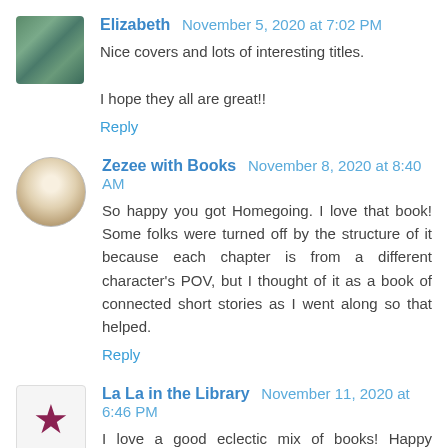Elizabeth  November 5, 2020 at 7:02 PM
Nice covers and lots of interesting titles.

I hope they all are great!!
Reply
Zezee with Books  November 8, 2020 at 8:40 AM
So happy you got Homegoing. I love that book! Some folks were turned off by the structure of it because each chapter is from a different character's POV, but I thought of it as a book of connected short stories as I went along so that helped.
Reply
La La in the Library  November 11, 2020 at 6:46 PM
I love a good eclectic mix of books! Happy reading. 📚📖
Reply